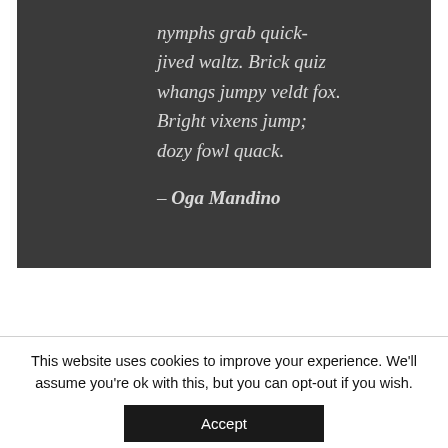nymphs grab quick-jived waltz. Brick quiz whangs jumpy veldt fox. Bright vixens jump; dozy fowl quack.

– Oga Mandino
This website uses cookies to improve your experience. We'll assume you're ok with this, but you can opt-out if you wish.